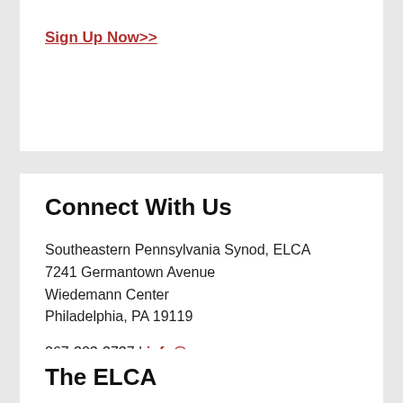Sign Up Now>>
Connect With Us
Southeastern Pennsylvania Synod, ELCA
7241 Germantown Avenue
Wiedemann Center
Philadelphia, PA 19119
267-323-3737 | info@sepa.org
Contact us
The ELCA